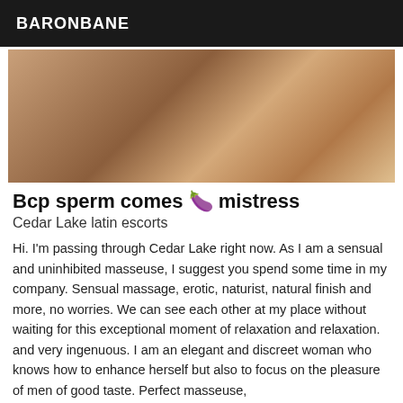BARONBANE
[Figure (photo): Close-up photograph with warm brown and skin tones]
Bcp sperm comes 🍆 mistress
Cedar Lake latin escorts
Hi. I'm passing through Cedar Lake right now. As I am a sensual and uninhibited masseuse, I suggest you spend some time in my company. Sensual massage, erotic, naturist, natural finish and more, no worries. We can see each other at my place without waiting for this exceptional moment of relaxation and relaxation. and very ingenuous. I am an elegant and discreet woman who knows how to enhance herself but also to focus on the pleasure of men of good taste. Perfect masseuse,